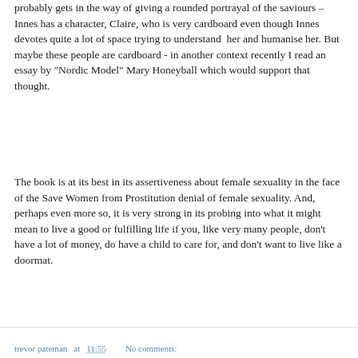probably gets in the way of giving a rounded portrayal of the saviours – Innes has a character, Claire, who is very cardboard even though Innes devotes quite a lot of space trying to understand  her and humanise her. But maybe these people are cardboard - in another context recently I read an essay by "Nordic Model" Mary Honeyball which would support that thought.
The book is at its best in its assertiveness about female sexuality in the face of the Save Women from Prostitution denial of female sexuality. And, perhaps even more so, it is very strong in its probing into what it might mean to live a good or fulfilling life if you, like very many people, don't have a lot of money, do have a child to care for, and don't want to live like a doormat.
trevor pateman at 11:55   No comments: